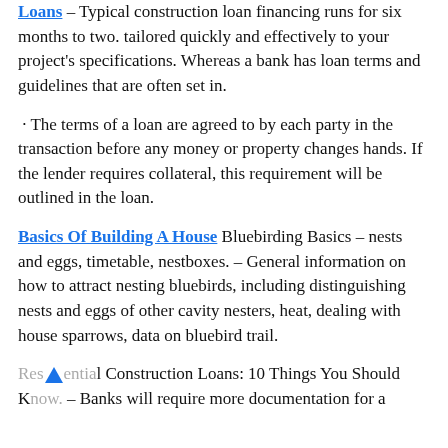Loans – Typical construction loan financing runs for six months to two. tailored quickly and effectively to your project's specifications. Whereas a bank has loan terms and guidelines that are often set in.
· The terms of a loan are agreed to by each party in the transaction before any money or property changes hands. If the lender requires collateral, this requirement will be outlined in the loan.
Basics Of Building A House Bluebirding Basics – nests and eggs, timetable, nestboxes. – General information on how to attract nesting bluebirds, including distinguishing nests and eggs of other cavity nesters, heat, dealing with house sparrows, data on bluebird trail.
Residential Construction Loans: 10 Things You Should Know. – Banks will require more documentation for a